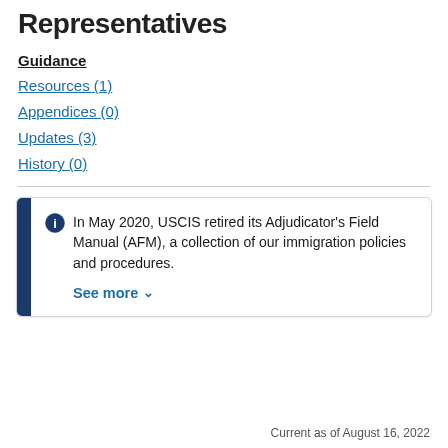Representatives
Guidance
Resources (1)
Appendices (0)
Updates (3)
History (0)
In May 2020, USCIS retired its Adjudicator's Field Manual (AFM), a collection of our immigration policies and procedures.
See more
Current as of August 16, 2022